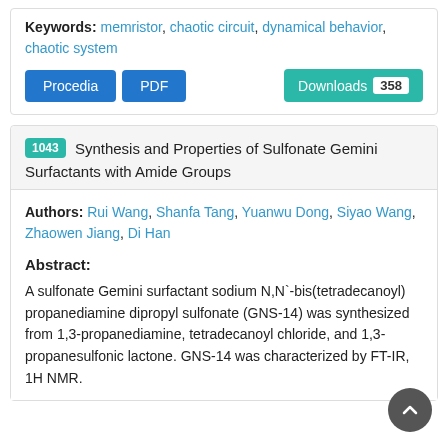Keywords: memristor, chaotic circuit, dynamical behavior, chaotic system
Procedia | PDF | Downloads 358
1043 Synthesis and Properties of Sulfonate Gemini Surfactants with Amide Groups
Authors: Rui Wang, Shanfa Tang, Yuanwu Dong, Siyao Wang, Zhaowen Jiang, Di Han
Abstract:
A sulfonate Gemini surfactant sodium N,N`-bis(tetradecanoyl) propanediamine dipropyl sulfonate (GNS-14) was synthesized from 1,3-propanediamine, tetradecanoyl chloride, and 1,3-propanesulfonic lactone. GNS-14 was characterized by FT-IR, 1H NMR.